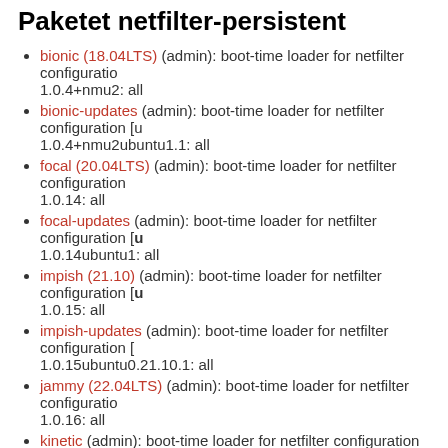Paketet netfilter-persistent
bionic (18.04LTS) (admin): boot-time loader for netfilter configuration
1.0.4+nmu2: all
bionic-updates (admin): boot-time loader for netfilter configuration [u
1.0.4+nmu2ubuntu1.1: all
focal (20.04LTS) (admin): boot-time loader for netfilter configuration
1.0.14: all
focal-updates (admin): boot-time loader for netfilter configuration [universe]
1.0.14ubuntu1: all
impish (21.10) (admin): boot-time loader for netfilter configuration [u
1.0.15: all
impish-updates (admin): boot-time loader for netfilter configuration [
1.0.15ubuntu0.21.10.1: all
jammy (22.04LTS) (admin): boot-time loader for netfilter configuratio
1.0.16: all
kinetic (admin): boot-time loader for netfilter configuration [universe]
1.0.16: all
Paketet netgen
focal (20.04LTS) (math): Automatic 3d tetrahedral mesh generator [
6.2.1804+dfsg1-3build2: amd64 arm64 armhf ppc64el s390x